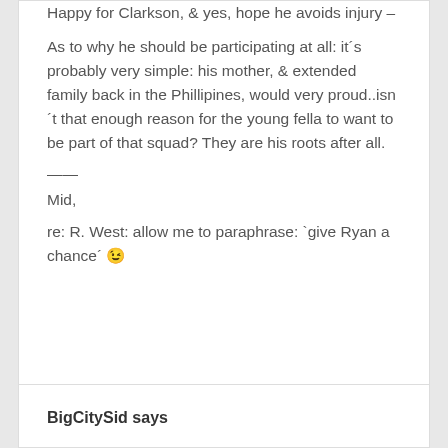Happy for Clarkson, & yes, hope he avoids injury – As to why he should be participating at all: it´s probably very simple: his mother, & extended family back in the Phillipines, would very proud..isn´t that enough reason for the young fella to want to be part of that squad? They are his roots after all.
——
Mid,
re: R. West: allow me to paraphrase: `give Ryan a chance´ 😉
BigCitySid says